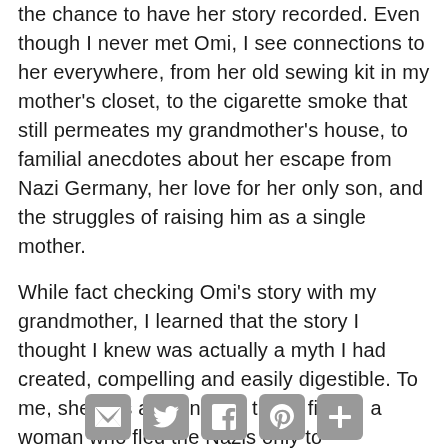the chance to have her story recorded. Even though I never met Omi, I see connections to her everywhere, from her old sewing kit in my mother's closet, to the cigarette smoke that still permeates my grandmother's house, to familial anecdotes about her escape from Nazi Germany, her love for her only son, and the struggles of raising him as a single mother.
While fact checking Omi's story with my grandmother, I learned that the story I thought I knew was actually a myth I had created, compelling and easily digestible. To me, she was a strong but tragic figure, a woman who fled the Nazis only to
[Figure (other): Social sharing icons: email, Twitter, Facebook, Pinterest, and a plus/more button]